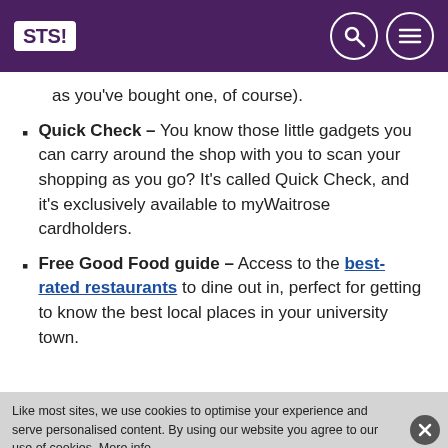STS!
as you've bought one, of course).
Quick Check – You know those little gadgets you can carry around the shop with you to scan your shopping as you go? It's called Quick Check, and it's exclusively available to myWaitrose cardholders.
Free Good Food guide – Access to the best-rated restaurants to dine out in, perfect for getting to know the best local places in your university town.
Like most sites, we use cookies to optimise your experience and serve personalised content. By using our website you agree to our use of cookies. More info